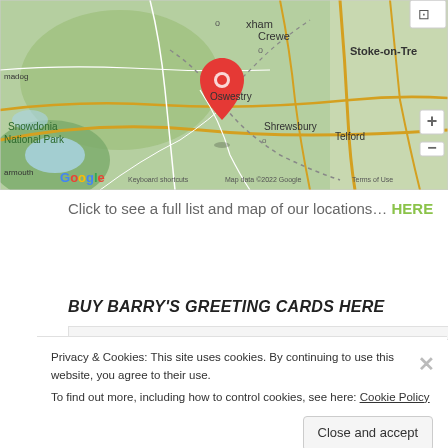[Figure (map): Google Map showing Wrexham area, Wales UK, with a red location pin near Wrexham. Visible labels include Crewe, Stoke-on-Trent, Snowdonia National Park, Oswestry, Shrewsbury, Telford, madog, armouth. Google logo and 'Keyboard shortcuts Map data ©2022 Google Terms of Use' at bottom.]
Click to see a full list and map of our locations… HERE
BUY BARRY'S GREETING CARDS HERE
Privacy & Cookies: This site uses cookies. By continuing to use this website, you agree to their use.
To find out more, including how to control cookies, see here: Cookie Policy
Close and accept